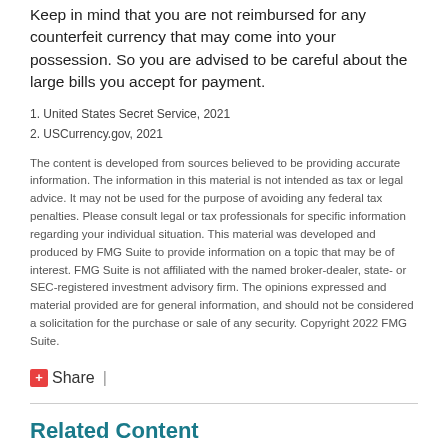Keep in mind that you are not reimbursed for any counterfeit currency that may come into your possession. So you are advised to be careful about the large bills you accept for payment.
1. United States Secret Service, 2021
2. USCurrency.gov, 2021
The content is developed from sources believed to be providing accurate information. The information in this material is not intended as tax or legal advice. It may not be used for the purpose of avoiding any federal tax penalties. Please consult legal or tax professionals for specific information regarding your individual situation. This material was developed and produced by FMG Suite to provide information on a topic that may be of interest. FMG Suite is not affiliated with the named broker-dealer, state- or SEC-registered investment advisory firm. The opinions expressed and material provided are for general information, and should not be considered a solicitation for the purchase or sale of any security. Copyright 2022 FMG Suite.
Share |
Related Content